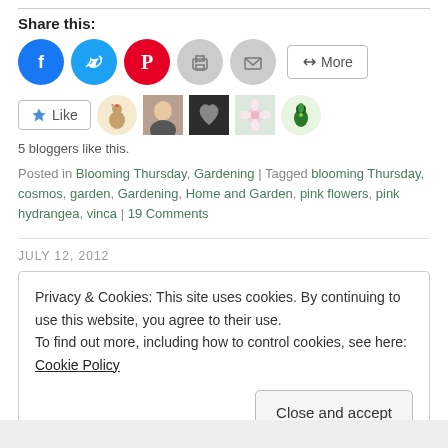Share this:
[Figure (infographic): Share buttons row: Facebook (blue circle), Twitter (blue circle), Pinterest (red circle), Print (grey circle), Email (grey circle), More button (rectangle)]
[Figure (infographic): Like button with star icon, followed by 5 blogger avatar thumbnails]
5 bloggers like this.
Posted in Blooming Thursday, Gardening | Tagged blooming Thursday, cosmos, garden, Gardening, Home and Garden, pink flowers, pink hydrangea, vinca | 19 Comments
JULY 12, 2012
Privacy & Cookies: This site uses cookies. By continuing to use this website, you agree to their use.
To find out more, including how to control cookies, see here: Cookie Policy
Close and accept